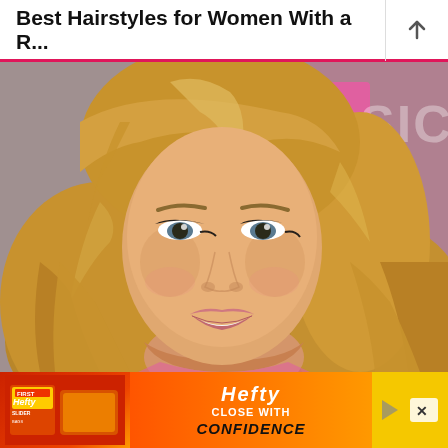Best Hairstyles for Women With a R...
[Figure (photo): A young woman with long, layered golden-blonde hair styled with side-swept bangs, smiling at the camera. She is wearing makeup with dramatic eye liner. Pink and white background visible behind her.]
[Figure (photo): Hefty Slider Bags advertisement banner. Left section shows Hefty Slider Bags product packaging on red/orange background. Middle orange section shows Hefty brand name with 'CLOSE WITH CONFIDENCE' text. Right section is yellow.]